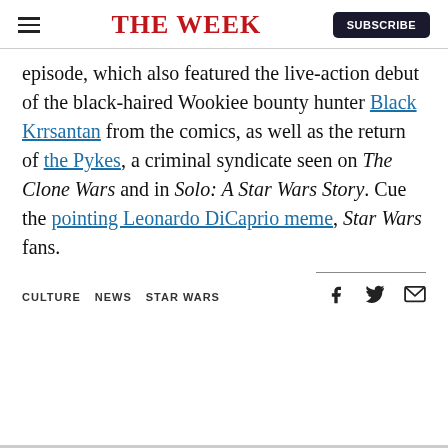THE WEEK
episode, which also featured the live-action debut of the black-haired Wookiee bounty hunter Black Krrsantan from the comics, as well as the return of the Pykes, a criminal syndicate seen on The Clone Wars and in Solo: A Star Wars Story. Cue the pointing Leonardo DiCaprio meme, Star Wars fans.
CULTURE  NEWS  STAR WARS